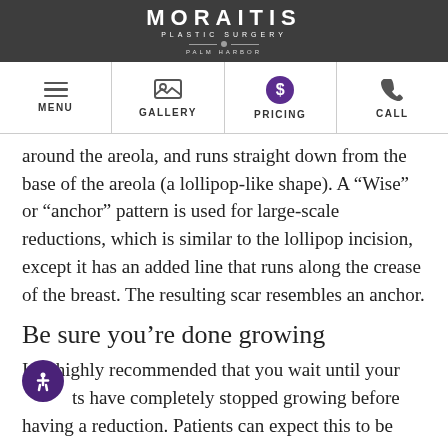MORAITIS PLASTIC SURGERY PALM HARBOR
[Figure (screenshot): Navigation bar with MENU, GALLERY, PRICING, CALL icons]
around the areola, and runs straight down from the base of the areola (a lollipop-like shape). A “Wise” or “anchor” pattern is used for large-scale reductions, which is similar to the lollipop incision, except it has an added line that runs along the crease of the breast. The resulting scar resembles an anchor.
Be sure you’re done growing
It is highly recommended that you wait until your breasts have completely stopped growing before having a reduction. Patients can expect this to be